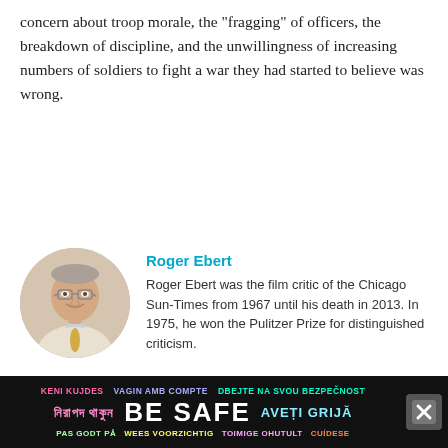concern about troop morale, the "fragging" of officers, the breakdown of discipline, and the unwillingness of increasing numbers of soldiers to fight a war they had started to believe was wrong.
Roger Ebert
Roger Ebert was the film critic of the Chicago Sun-Times from 1967 until his death in 2013. In 1975, he won the Pulitzer Prize for distinguished criticism.
[Figure (photo): Circular portrait photo of Roger Ebert, an older man with glasses, smiling, wearing a light jacket and yellow tie.]
KENI KUJDES VAGIN AMB COMPTE DBEJTE NA SVOU BEZPEČNOST নিরাপদ থাকুন BE SAFE AVEȚI GRIJĂ PAS GODT PÅ WEES VOORZICHTIG TOIMIGE OHUTULT CUÍDESE